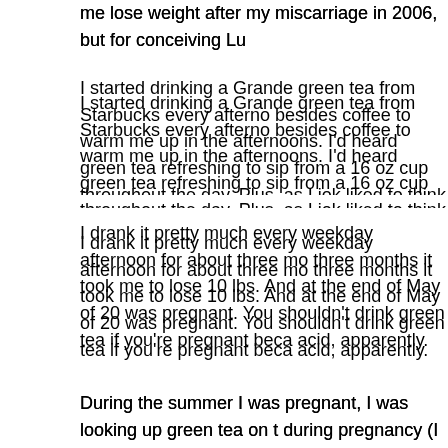Funny how I never got around to blogging this, but did you know it helped me lose weight after my miscarriage in 2006, but for conceiving Lu…
I started drinking a Grande green tea from Starbucks every afternoon besides coffee to warm me up in the afternoons. I'd heard green tea was refreshing to sip from a 16 oz cup throughout the day. Plus, as I jok liked to think of myself as the kind of person who enjoyed green tea
I drank it pretty much every weekday afternoon for about three months. three months it took me to lose 10 lbs. And at the end of May of 200 was pregnant. You shouldn't drink green tea if you're pregnant beca acid, apparently.
During the summer I was pregnant, I was looking up green tea on th during pregnancy (I decided it was best to just stay away) and foun between fertility and green tea. Nice to know after the fact, anyway!
And then just last month, I heard something about green tea and w green tea also improves your metabolism to the equivalent of burni that's a full 10 lbs of weight loss, just from green tea alone. You ca know about that. I do know, though, that I'm now drinking 16 oz or s